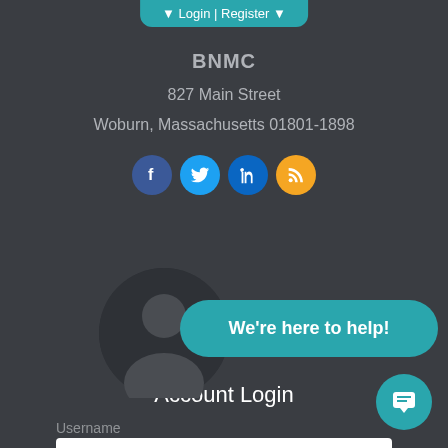Login | Register
BNMC
827 Main Street
Woburn, Massachusetts 01801-1898
[Figure (infographic): Social media icons: Facebook (blue circle), Twitter (light blue circle), LinkedIn (dark blue circle), RSS (orange circle)]
[Figure (infographic): Dark circular avatar placeholder with a teal rounded chat bubble overlay reading 'We're here to help!' and a teal chat icon button in the bottom right corner]
Account Login
Username